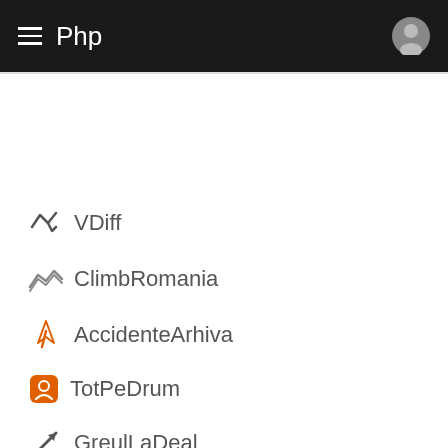Php
VDiff
ClimbRomania
AccidenteArhiva
TotPeDrum
GreulLaDeal